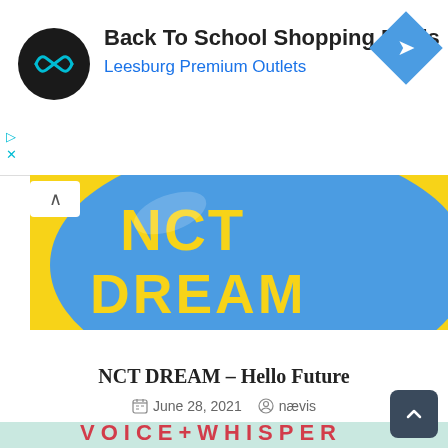[Figure (screenshot): Ad banner: Back To School Shopping Deals - Leesburg Premium Outlets with circular logo and diamond navigation icon]
[Figure (photo): NCT DREAM blue balloon with yellow lettering 'NCT DREAM' on yellow background]
NCT DREAM – Hello Future
June 28, 2021   nævis
[Figure (photo): Bottom strip showing partial image with teal/green background and text 'VOICE+WHISPER' partially visible]